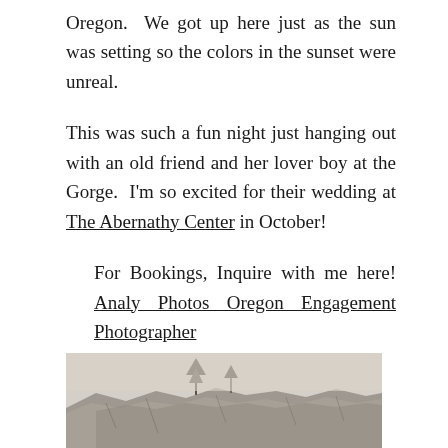Oregon.  We got up here just as the sun was setting so the colors in the sunset were unreal.
This was such a fun night just hanging out with an old friend and her lover boy at the Gorge.  I'm so excited for their wedding at The Abernathy Center in October!
For Bookings, Inquire with me here! Analy Photos Oregon Engagement Photographer
[Figure (photo): Black and white / sepia photo showing rocky cliffs and sparse trees against a light sky, visible from approximately mid-frame down]